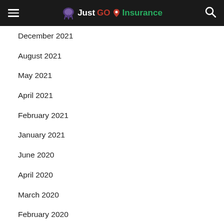JustGO Insurance
December 2021
August 2021
May 2021
April 2021
February 2021
January 2021
June 2020
April 2020
March 2020
February 2020
January 2020
December 2019
November 2019